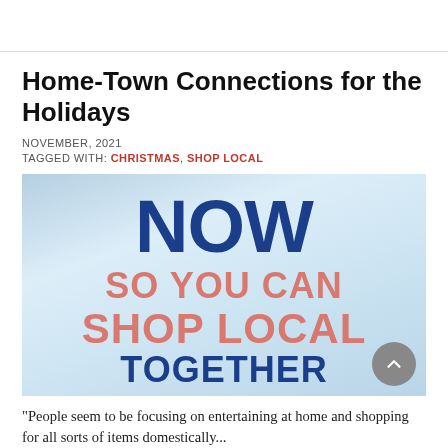Home-Town Connections for the Holidays
NOVEMBER, 2021
TAGGED WITH: CHRISTMAS, SHOP LOCAL
[Figure (photo): A sign reading 'NOW SO YOU CAN SHOP LOCAL TOGETHER' with large bold text in blue and salmon/pink colors on a light blue background]
"People seem to be focusing on entertaining at home and shopping for all sorts of items domestically...